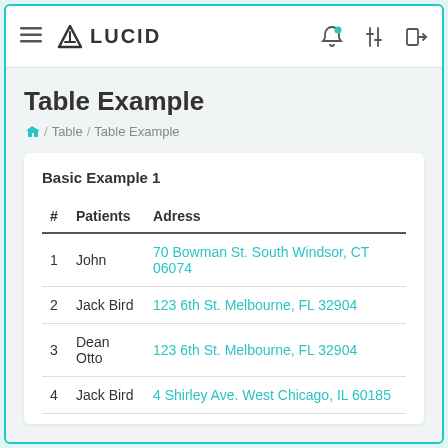≡  LUCID
Table Example
⌂ / Table / Table Example
Basic Example 1
| # | Patients | Adress |
| --- | --- | --- |
| 1 | John | 70 Bowman St. South Windsor, CT 06074 |
| 2 | Jack Bird | 123 6th St. Melbourne, FL 32904 |
| 3 | Dean Otto | 123 6th St. Melbourne, FL 32904 |
| 4 | Jack Bird | 4 Shirley Ave. West Chicago, IL 60185 |